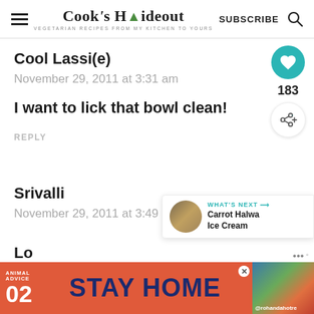Cook's Hideout — VEGETARIAN RECIPES FROM MY KITCHEN TO YOURS — SUBSCRIBE
Cool Lassi(e)
November 29, 2011 at 3:31 am
I want to lick that bowl clean!
REPLY
183
WHAT'S NEXT → Carrot Halwa Ice Cream
Srivalli
November 29, 2011 at 3:49 am
[Figure (other): Advertisement banner: ANIMAL ADVICE 02 — STAY HOME — @rohandahotre]
Lo